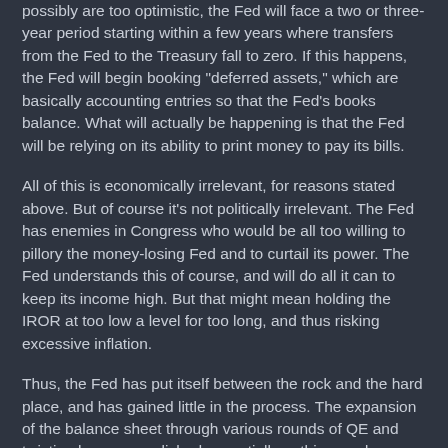possibly are too optimistic, the Fed will face a two or three-year period starting within a few years where transfers from the Fed to the Treasury fall to zero. If this happens, the Fed will begin booking "deferred assets," which are basically accounting entries so that the Fed's books balance. What will actually be happening is that the Fed will be relying on its ability to print money to pay its bills.
All of this is economically irrelevant, for reasons stated above. But of course it's not politically irrelevant. The Fed has enemies in Congress who would be all too willing to pillory the money-losing Fed and to curtail its power. The Fed understands this of course, and will do all it can to keep its income high. But that might mean holding the IROR at too low a level for too long, and thus risking excessive inflation.
Thus, the Fed has put itself between the rock and the hard place, and has gained little in the process. The expansion of the balance sheet through various rounds of QE and twisting has accomplished essentially nothing, and now the Fed could be faced with an unhappy short-run tradeoff - the risk of loss of independence vs. the risk of inflation.